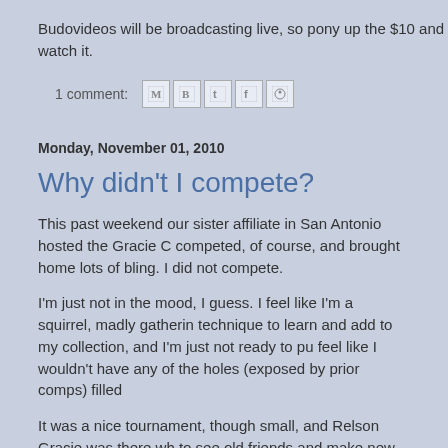Budovideos will be broadcasting live, so pony up the $10 and watch it.
1 comment:
Monday, November 01, 2010
Why didn't I compete?
This past weekend our sister affiliate in San Antonio hosted the Gracie C competed, of course, and brought home lots of bling. I did not compete.
I'm just not in the mood, I guess. I feel like I'm a squirrel, madly gatherin technique to learn and add to my collection, and I'm just not ready to pu feel like I wouldn't have any of the holes (exposed by prior comps) filled
It was a nice tournament, though small, and Relson Gracie was there wh to see old friends and make new ones (there's yet ANOTHER new jiu jits me female blue belt I'm eager to see at a Girls in Gis someday) but I'm h
Royler is coming to our academy for a seminar on November 18, and Ka female black belt) will be attending, so I'm keen on that. It's only $85 for